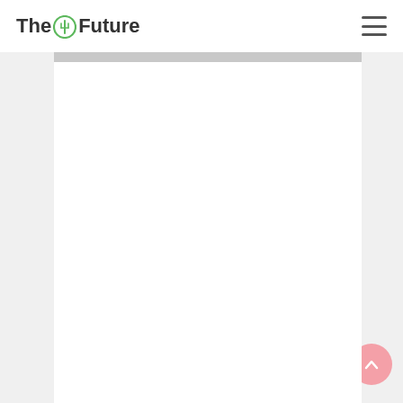The Future
And when you remove it, the garlic will look like this. (Confession: this is actually twenty minutes after I removed it from the oven. I was unavoidably sidetracked. It happens in this godforsaken house of mine.)